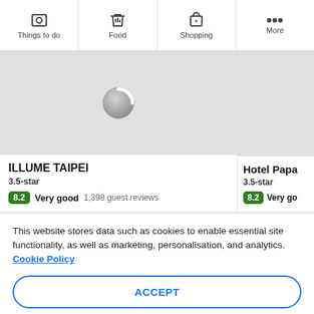Things to do | Food | Shopping | More
[Figure (screenshot): Hotel card for ILLUME TAIPEI showing a loading spinner, 3.5-star rating, score 8.2 Very good, 1,398 guest reviews]
[Figure (screenshot): Partial hotel card for Hotel Papa showing 3.5-star rating, score 8.2 Very go...]
This website stores data such as cookies to enable essential site functionality, as well as marketing, personalisation, and analytics. Cookie Policy
ACCEPT